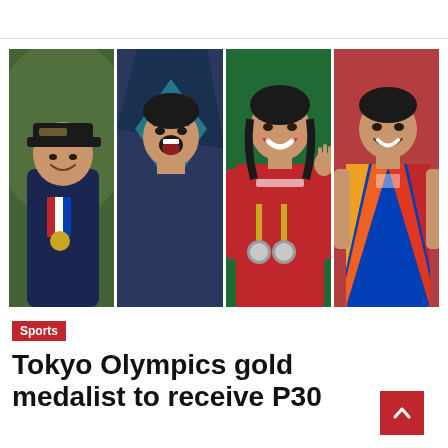[Figure (photo): Four Philippine Olympic athletes in a collage of four vertical photo strips: (1) a golfer in a dark jacket wearing a medal ribbon; (2) a male athlete in a Nike teal geometric jersey, mouth open in a shout; (3) a female athlete in a red jersey with Olympic medals around her neck, smiling; (4) a male gymnast in a Philippine flag-colored blue/red/yellow leotard, smiling.]
Sports
Tokyo Olympics gold medalist to receive P30